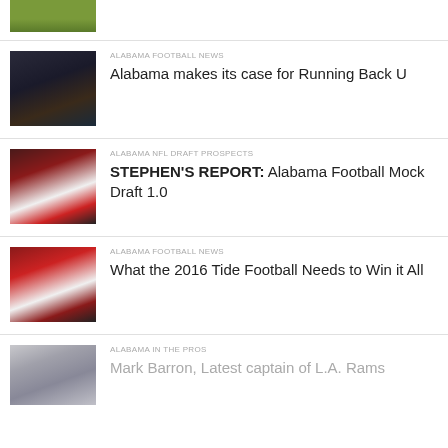[Figure (photo): Partial football/grass photo at top of page]
ALABAMA FOOTBALL NEWS
Alabama makes its case for Running Back U
ALABAMA NFL DRAFT PROSPECTS
STEPHEN'S REPORT: Alabama Football Mock Draft 1.0
ALABAMA FOOTBALL NEWS
What the 2016 Tide Football Needs to Win it All
ALABAMA IN THE PROS
Mark Barron, Latest captain of L.A. Rams